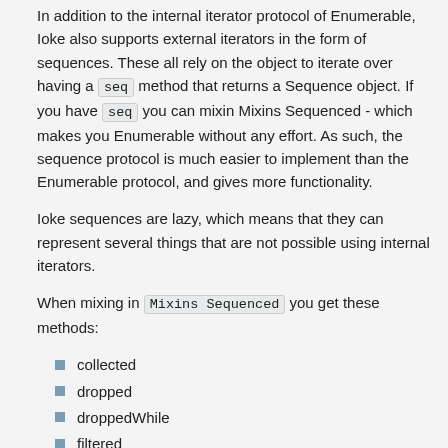In addition to the internal iterator protocol of Enumerable, Ioke also supports external iterators in the form of sequences. These all rely on the object to iterate over having a seq method that returns a Sequence object. If you have seq you can mixin Mixins Sequenced - which makes you Enumerable without any effort. As such, the sequence protocol is much easier to implement than the Enumerable protocol, and gives more functionality.
Ioke sequences are lazy, which means that they can represent several things that are not possible using internal iterators.
When mixing in Mixins Sequenced you get these methods:
collected
dropped
droppedWhile
filtered
grepped
indexed
interleave
interpose